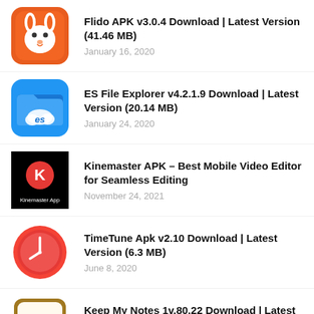[Figure (logo): Flido APK rabbit icon - orange rounded square with white rabbit face]
Flido APK v3.0.4 Download | Latest Version (41.46 MB)
January 16, 2020
[Figure (logo): ES File Explorer icon - blue folder with cloud and ES text]
ES File Explorer v4.2.1.9 Download | Latest Version (20.14 MB)
January 24, 2020
[Figure (logo): Kinemaster App - black background with red K circle logo and Kinemaster App text]
Kinemaster APK – Best Mobile Video Editor for Seamless Editing
November 24, 2021
[Figure (logo): TimeTune Apk icon - red circle with white clock]
TimeTune Apk v2.10 Download | Latest Version (6.3 MB)
June 8, 2020
[Figure (logo): Keep My Notes icon - notepad with lines and pencil, gold/brown border]
Keep My Notes 1v.80.22 Download | Latest Version (10.96 MB)
May 23, 2020